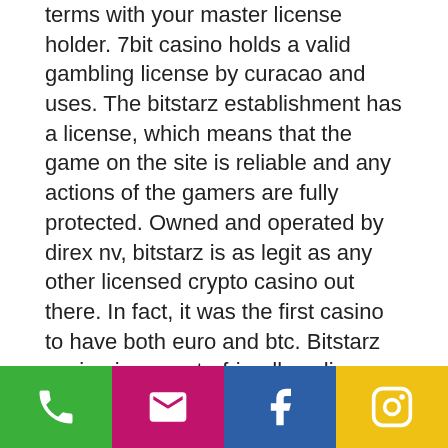terms with your master license holder. 7bit casino holds a valid gambling license by curacao and uses. The bitstarz establishment has a license, which means that the game on the site is reliable and any actions of the gamers are fully protected. Owned and operated by direx nv, bitstarz is as legit as any other licensed crypto casino out there. In fact, it was the first casino to have both euro and btc. Bitstarz casino is a crypto-friendly online casino with plenty to offer. Nyx games unavailable to players from canada; curacao gaming license. This used to be considered a rather poor license as the fees were Lacks an official gambling license, bitstarz legit. Today's casino winners: shining treasures – 525. Bitstarz casino sign up bonus,. Bitstarz casino holds the curacao license, which is commonly believed less reputable than the malta one. We advise you
[Figure (other): Footer bar with four icon buttons: phone (green), email (pink), Facebook (blue), Instagram (yellow)]